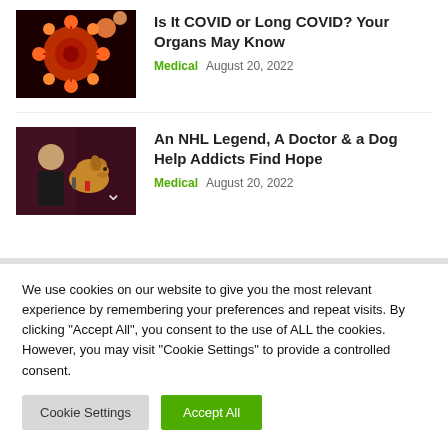[Figure (photo): Close-up of red and orange coronavirus particle illustration on dark background]
Is It COVID or Long COVID? Your Organs May Know
Medical  August 20, 2022
[Figure (photo): Man in dark jacket with a golden retriever dog, against a dark red background]
An NHL Legend, A Doctor & a Dog Help Addicts Find Hope
Medical  August 20, 2022
We use cookies on our website to give you the most relevant experience by remembering your preferences and repeat visits. By clicking "Accept All", you consent to the use of ALL the cookies. However, you may visit "Cookie Settings" to provide a controlled consent.